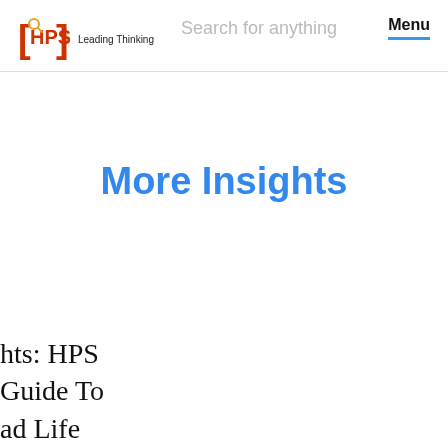[HPS] Leading Thinking | Search for anything | Menu
More Insights
hts: HPS Guide To ad Life